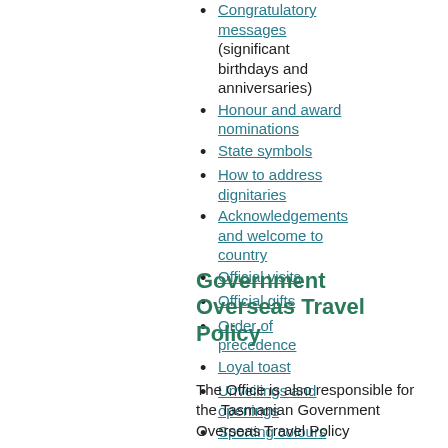Congratulatory messages (significant birthdays and anniversaries)
Honour and award nominations
State symbols
How to address dignitaries
Acknowledgements and welcome to country
Official visits
Official gifts
Order of precedence
Loyal toast
Unveilings and openings
Sporting colours
Government Overseas Travel Policy
The Office is also responsible for the Tasmanian Government Overseas Travel Policy